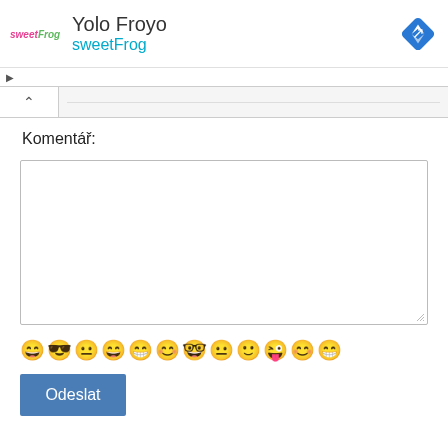[Figure (screenshot): sweetFrog frozen yogurt ad banner with logo, brand name 'sweetFrog', title 'Yolo Froyo', and a blue navigation direction diamond icon on the right]
Komentář:
[Figure (other): Empty comment textarea input box]
[Figure (other): Row of emoji smiley face icons for comment input]
Odeslat